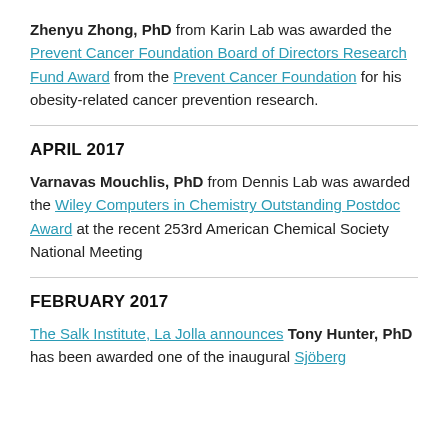Zhenyu Zhong, PhD from Karin Lab was awarded the Prevent Cancer Foundation Board of Directors Research Fund Award from the Prevent Cancer Foundation for his obesity-related cancer prevention research.
APRIL 2017
Varnavas Mouchlis, PhD from Dennis Lab was awarded the Wiley Computers in Chemistry Outstanding Postdoc Award at the recent 253rd American Chemical Society National Meeting
FEBRUARY 2017
The Salk Institute, La Jolla announces Tony Hunter, PhD has been awarded one of the inaugural Sjöberg